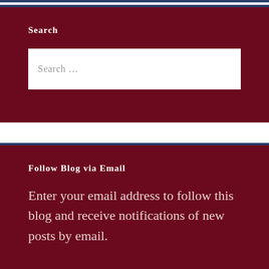Search
Search …
Follow Blog via Email
Enter your email address to follow this blog and receive notifications of new posts by email.